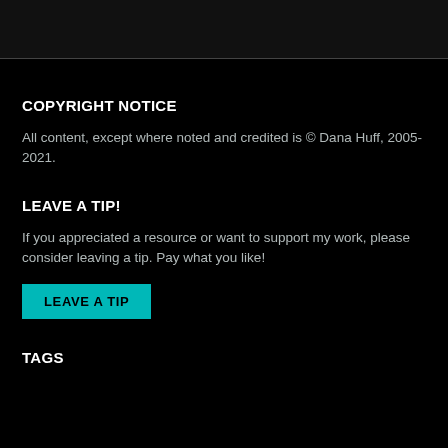COPYRIGHT NOTICE
All content, except where noted and credited is © Dana Huff, 2005-2021.
LEAVE A TIP!
If you appreciated a resource or want to support my work, please consider leaving a tip. Pay what you like!
LEAVE A TIP
TAGS